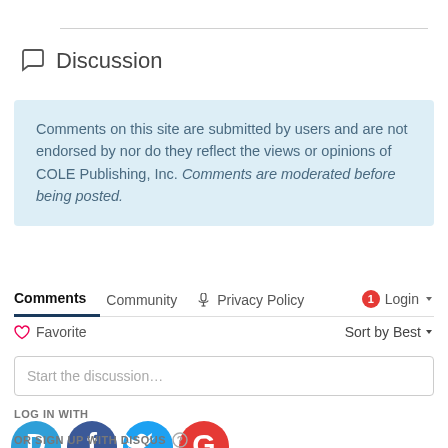Discussion
Comments on this site are submitted by users and are not endorsed by nor do they reflect the views or opinions of COLE Publishing, Inc. Comments are moderated before being posted.
Comments  Community  Privacy Policy  1  Login
Favorite  Sort by Best
Start the discussion...
LOG IN WITH
OR SIGN UP WITH DISQUS